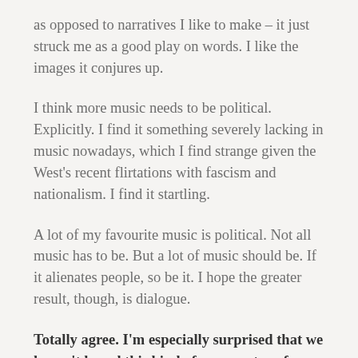as opposed to narratives I like to make – it just struck me as a good play on words. I like the images it conjures up.
I think more music needs to be political. Explicitly. I find it something severely lacking in music nowadays, which I find strange given the West's recent flirtations with fascism and nationalism. I find it startling.
A lot of my favourite music is political. Not all music has to be. But a lot of music should be. If it alienates people, so be it. I hope the greater result, though, is dialogue.
Totally agree. I'm especially surprised that we haven't heard this kind of commentary from sound